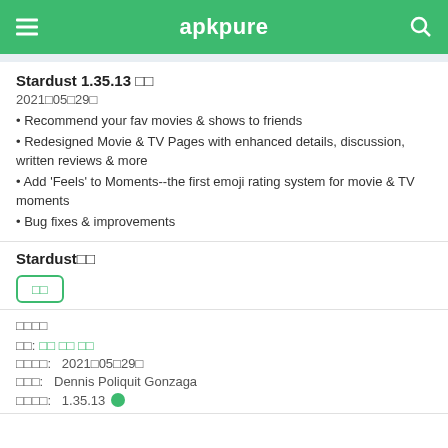apkpure
Stardust 1.35.13 □□
2021□05□29□
• Recommend your fav movies & shows to friends
• Redesigned Movie & TV Pages with enhanced details, discussion, written reviews & more
• Add 'Feels' to Moments--the first emoji rating system for movie & TV moments
• Bug fixes & improvements
Stardust□□
□□
□□□□
□□:  □□ □□ □□
□□□□:  2021□05□29□
□□□:  Dennis Poliquit Gonzaga
□□□□:  1.35.13 ●